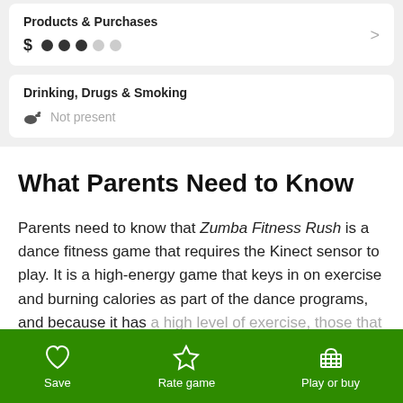Products & Purchases
$ ●●●○○
Drinking, Drugs & Smoking
Not present
What Parents Need to Know
Parents need to know that Zumba Fitness Rush is a dance fitness game that requires the Kinect sensor to play. It is a high-energy game that keys in on exercise and burning calories as part of the dance programs, and because it has a high level of exercise, those that participate should
Save   Rate game   Play or buy